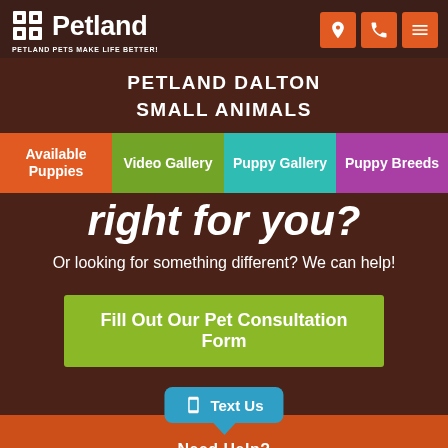[Figure (logo): Petland logo with paw icon and text 'Petland' with tagline 'Petland Pets Make Life Better!']
PETLAND DALTON
SMALL ANIMALS
Available Puppies
Video Gallery
Puppy Gallery
Puppy Breeds
right for you?
Or looking for something different? We can help!
Fill Out Our Pet Consultation Form
Text Us
Need Help?